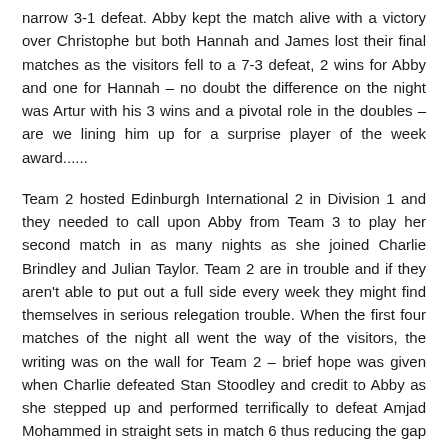narrow 3-1 defeat. Abby kept the match alive with a victory over Christophe but both Hannah and James lost their final matches as the visitors fell to a 7-3 defeat, 2 wins for Abby and one for Hannah – no doubt the difference on the night was Artur with his 3 wins and a pivotal role in the doubles – are we lining him up for a surprise player of the week award......
Team 2 hosted Edinburgh International 2 in Division 1 and they needed to call upon Abby from Team 3 to play her second match in as many nights as she joined Charlie Brindley and Julian Taylor. Team 2 are in trouble and if they aren't able to put out a full side every week they might find themselves in serious relegation trouble. When the first four matches of the night all went the way of the visitors, the writing was on the wall for Team 2 – brief hope was given when Charlie defeated Stan Stoodley and credit to Abby as she stepped up and performed terrifically to defeat Amjad Mohammed in straight sets in match 6 thus reducing the gap to 4-2. The doubles, however, secured a point for the visitors and that quickly became 2 as Julian fell to Stan in Match 8. A win for Charlie in the last match of the night wasn't much consolation as Team 2 fell to a 7-3 defeat.
And so, to our player of the week award. There was only one undefeated player in the league from this round and that was Colin, but let Posi...